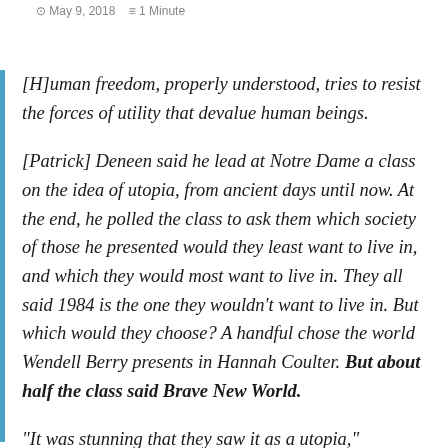May 9, 2018  1 Minute
[H]uman freedom, properly understood, tries to resist the forces of utility that devalue human beings.
[Patrick] Deneen said he lead at Notre Dame a class on the idea of utopia, from ancient days until now. At the end, he polled the class to ask them which society of those he presented would they least want to live in, and which they would most want to live in. They all said 1984 is the one they wouldn't want to live in. But which would they choose? A handful chose the world Wendell Berry presents in Hannah Coulter. But about half the class said Brave New World.
“It was stunning that they saw it as a utopia,”